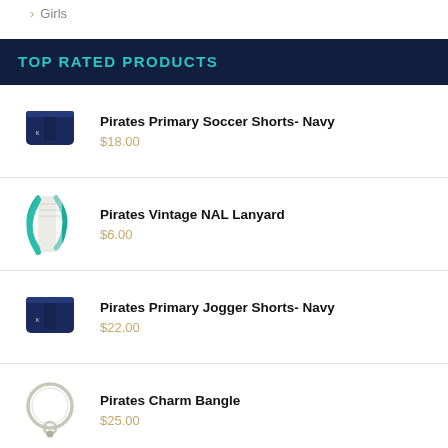Girls
TOP RATED PRODUCTS
Pirates Primary Soccer Shorts- Navy
$18.00
Pirates Vintage NAL Lanyard
$6.00
Pirates Primary Jogger Shorts- Navy
$22.00
Pirates Charm Bangle
$25.00
Pirates... (partial, cut off)